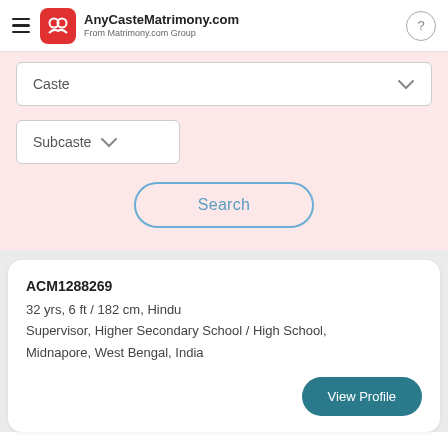AnyCasteMatrimony.com — From Matrimony.com Group
Caste
Subcaste
Search
ACM1288269
32 yrs, 6 ft / 182 cm, Hindu
Supervisor, Higher Secondary School / High School, Midnapore, West Bengal, India
View Profile